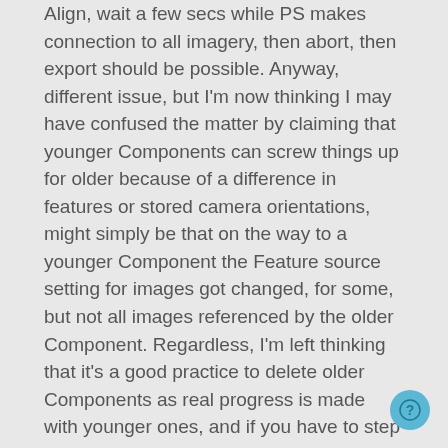Align, wait a few secs while PS makes connection to all imagery, then abort, then export should be possible. Anyway, different issue, but I'm now thinking I may have confused the matter by claiming that younger Components can screw things up for older because of a difference in features or stored camera orientations, might simply be that on the way to a younger Component the Feature source setting for images got changed, for some, but not all images referenced by the older Component. Regardless, I'm left thinking that it's a good practice to delete older Components as real progress is made with younger ones, and if you have to step back, then delete the younger.
About the Points Lasso tool, totally got that wrong. With my idea to use it to remove bad TPs (auto-detected features), I never even tried to open the Filter tool, just assumed. You're right, doesn't work that